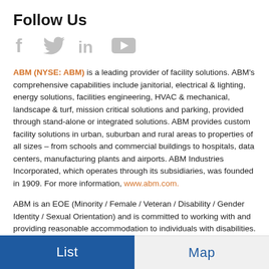Follow Us
[Figure (illustration): Social media icons: Facebook (f), Twitter (bird), LinkedIn (in), YouTube (play button triangle), all in light gray]
ABM (NYSE: ABM) is a leading provider of facility solutions. ABM’s comprehensive capabilities include janitorial, electrical & lighting, energy solutions, facilities engineering, HVAC & mechanical, landscape & turf, mission critical solutions and parking, provided through stand-alone or integrated solutions. ABM provides custom facility solutions in urban, suburban and rural areas to properties of all sizes – from schools and commercial buildings to hospitals, data centers, manufacturing plants and airports. ABM Industries Incorporated, which operates through its subsidiaries, was founded in 1909. For more information, www.abm.com.
ABM is an EOE (Minority / Female / Veteran / Disability / Gender Identity / Sexual Orientation) and is committed to working with and providing reasonable accommodation to individuals with disabilities. If you have a disability and need assistance in completing the employment application, please call 855-350-0226. We will provide you with assistance and make a determination on your request for reasonable accommodation on a
List    Map